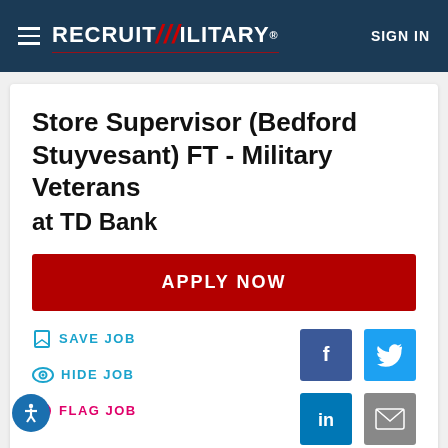RecruitMilitary® SIGN IN
Store Supervisor (Bedford Stuyvesant) FT - Military Veterans
at TD Bank
APPLY NOW
SAVE JOB
HIDE JOB
FLAG JOB